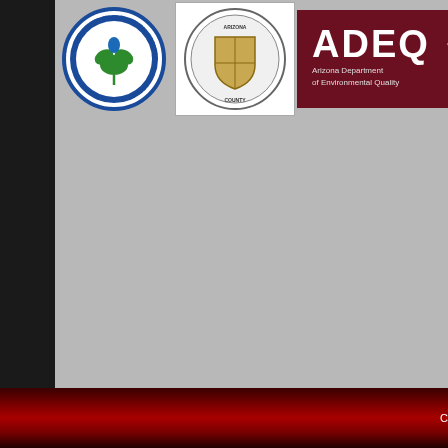[Figure (logo): EPA (Environmental Protection Agency) circular seal logo]
[Figure (logo): Arizona county seal/coat of arms logo]
[Figure (logo): ADEQ - Arizona Department of Environmental Quality logo on dark red background]
not commonly repo provides a brief ov information consul
How do I get rid o
It is impossible to g house dust. The m controlled by contr water problem. If y
Serving the Follow
Ahwatukee - Mesa - Litchfield Park -
C